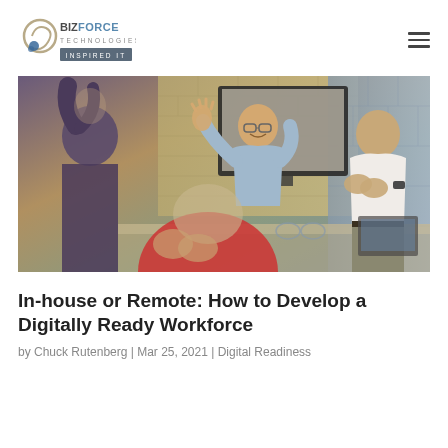BizForce Technologies — Inspired IT
[Figure (photo): Group of office workers applauding and celebrating with a man on a video call visible on a monitor in the background, in a modern brick-walled office]
In-house or Remote: How to Develop a Digitally Ready Workforce
by Chuck Rutenberg | Mar 25, 2021 | Digital Readiness